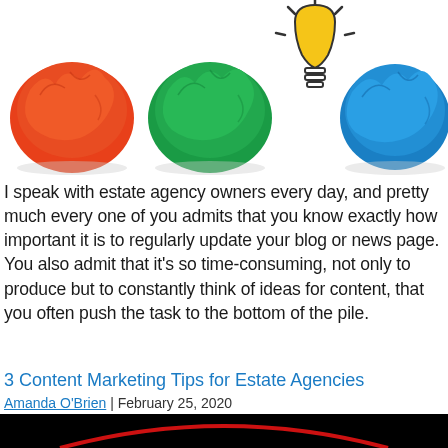[Figure (illustration): Colorful crumpled paper balls (red, green, blue) arranged around a lightbulb sketch on white background, representing ideas/content marketing concept]
I speak with estate agency owners every day, and pretty much every one of you admits that you know exactly how important it is to regularly update your blog or news page. You also admit that it's so time-consuming, not only to produce but to constantly think of ideas for content, that you often push the task to the bottom of the pile.
3 Content Marketing Tips for Estate Agencies
Amanda O'Brien | February 25, 2020
[Figure (illustration): Bottom black bar with red arc/curve visible at the top edge]